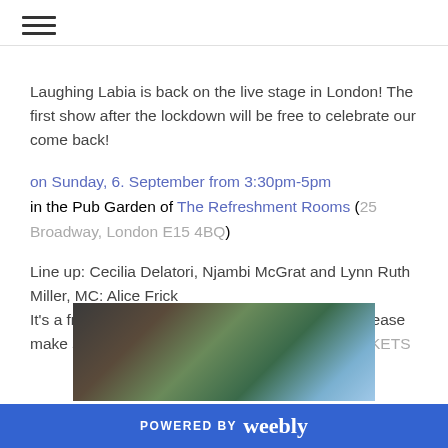≡ (hamburger menu icon)
Laughing Labia is back on the live stage in London! The first show after the lockdown will be free to celebrate our come back!
on Sunday, 6. September from 3:30pm-5pm
in the Pub Garden of The Refreshment Rooms (25 Broadway, London E15 4BQ)
Line up: Cecilia Delatori, Njambi McGrat and Lynn Ruth Miller, MC: Alice Frick
It's a free show but due to COVID-19 regulation please make sure you reserve your seat here: FREE TICKETS
[Figure (photo): Exterior photo of The Refreshment Rooms pub garden area, showing a brick building with trees and string lights outside, blue sky]
POWERED BY weebly